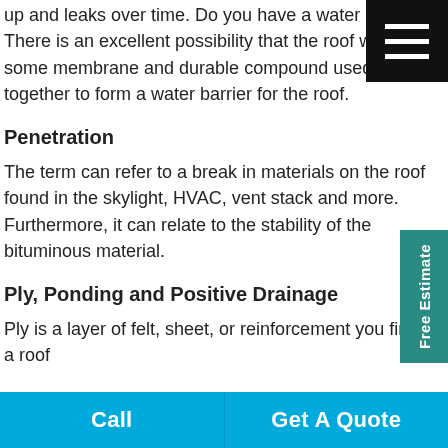up and leaks over time. Do you have a water leak? There is an excellent possibility that the roof will need some membrane and durable compound used together to form a water barrier for the roof.
Penetration
The term can refer to a break in materials on the roof found in the skylight, HVAC, vent stack and more. Furthermore, it can relate to the stability of the bituminous material.
Ply, Ponding and Positive Drainage
Ply is a layer of felt, sheet, or reinforcement you find in a roof
Call | Get A Quote